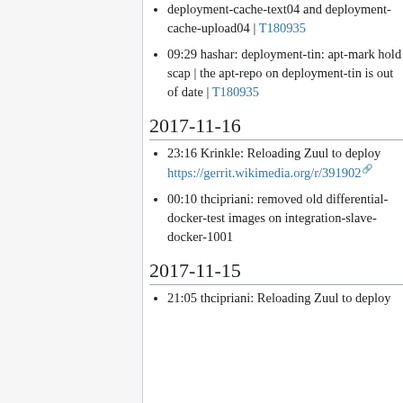09:29 hashar: deployment-tin: apt-mark hold scap | the apt-repo on deployment-tin is out of date | T180935
2017-11-16
23:16 Krinkle: Reloading Zuul to deploy https://gerrit.wikimedia.org/r/391902
00:10 thcipriani: removed old differential-docker-test images on integration-slave-docker-1001
2017-11-15
21:05 thcipriani: Reloading Zuul to deploy